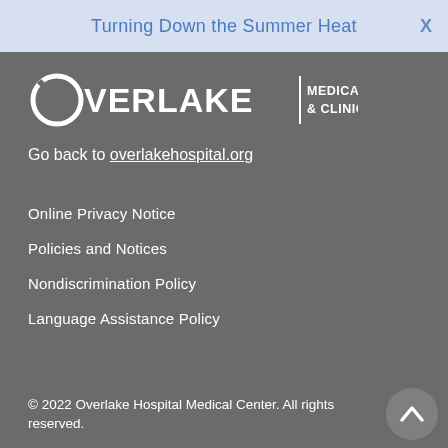Turning Down the Summer Heat
[Figure (logo): Overlake Medical Center & Clinics logo in white on grey background]
Go back to overlakehospital.org
Online Privacy Notice
Policies and Notices
Nondiscrimination Policy
Language Assistance Policy
© 2022 Overlake Hospital Medical Center. All rights reserved.